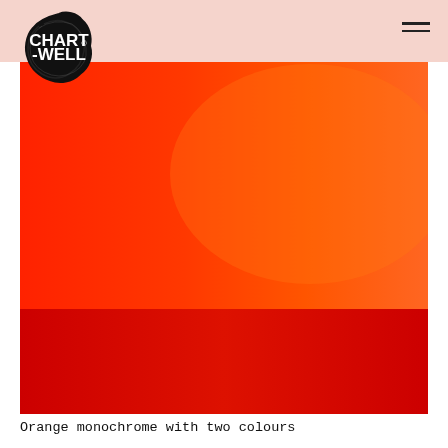Chartwell logo and navigation
[Figure (illustration): Large rectangular image showing an orange-red monochrome gradient composition. The upper portion is a bright orange-red color, the lower portion transitions to a deeper red. The image fills most of the page width.]
Orange monochrome with two colours